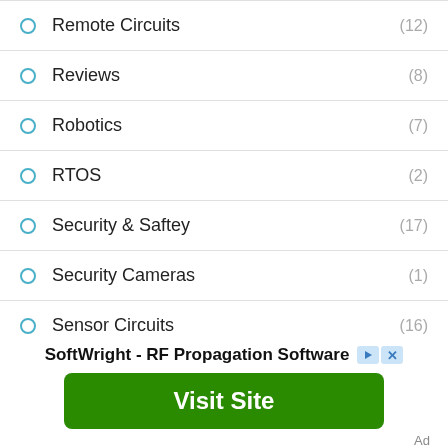Remote Circuits (12)
Reviews (8)
Robotics (7)
RTOS (2)
Security & Saftey (17)
Security Cameras (1)
Sensor Circuits (16)
SoftWright - RF Propagation Software
Visit Site
Ad